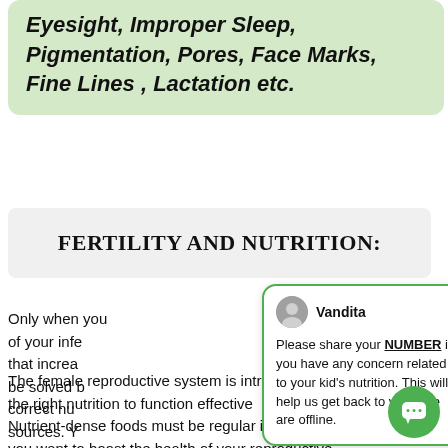Eyesight, Improper Sleep, Pigmentation, Pores, Face Marks, Fine Lines , Lactation etc.
FERTILITY AND NUTRITION:
Only when you identify the underlying cause of your infertility, you can identify the factors that increase your chances of conception, that be solved by making changes to your diet, and correct nutrition from the correct food sources. You can treat your body to get a stress-free and healthy pregnancy.
[Figure (screenshot): Chat popup from Vandita saying: Please share your NUMBER if you have any concern related to your kid's nutrition. This will help us get back to you if we are offline.]
The female reproductive system is intricate and requires the right nutrition to function effectively. Nutrient-dense foods must be regular in your diet if you want to boost the health of your reproductive